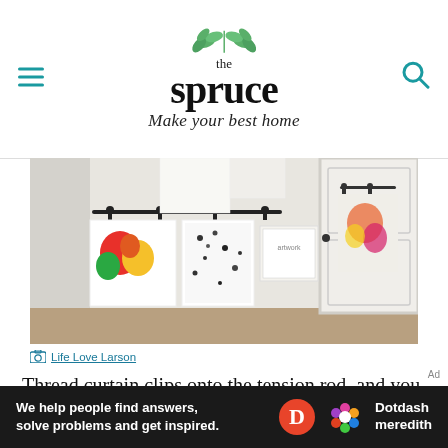the spruce — Make your best home
[Figure (photo): Interior hallway with children's artwork hanging from curtain rods with clips on white walls, with a door visible in the background]
Life Love Larson
Thread curtain clips onto the tension rod, and you can easily attach your little one's masterpieces instead of fabric. It's especially
[Figure (other): Dotdash Meredith advertisement bar: 'We help people find answers, solve problems and get inspired.']